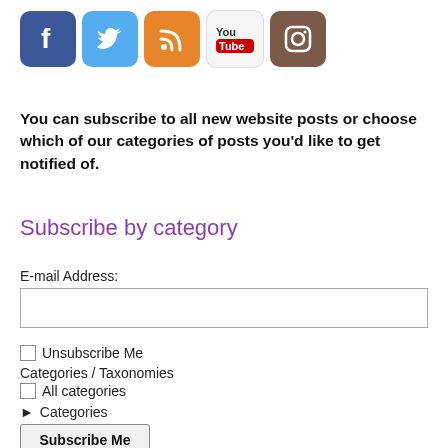[Figure (illustration): Row of social media icons: Facebook (blue), Twitter (light blue), RSS (orange), YouTube (white/red), Instagram (brown)]
You can subscribe to all new website posts or choose which of our categories of posts you'd like to get notified of.
Subscribe by category
E-mail Address:
Unsubscribe Me
Categories / Taxonomies
All categories
► Categories
Subscribe Me